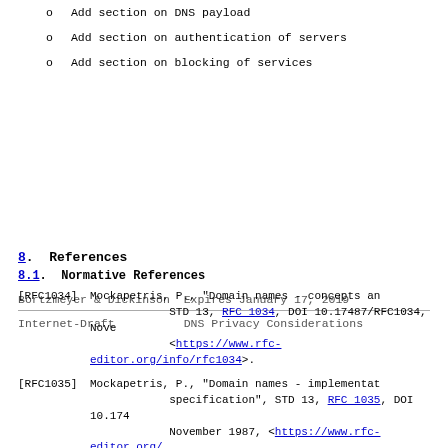o  Add section on DNS payload
o  Add section on authentication of servers
o  Add section on blocking of services
Bortzmeyer & Dickinson  Expires January 17, 2019
Internet-Draft          DNS Privacy Considerations
8.  References
8.1.  Normative References
[RFC1034]   Mockapetris, P., "Domain names - concepts an... STD 13, RFC 1034, DOI 10.17487/RFC1034, Nove... <https://www.rfc-editor.org/info/rfc1034>.
[RFC1035]   Mockapetris, P., "Domain names - implementat... specification", STD 13, RFC 1035, DOI 10.174... November 1987, <https://www.rfc-editor.org/...